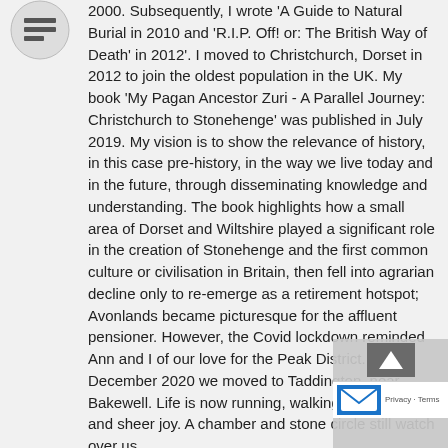[Figure (logo): Small circular avatar/logo icon in top-left corner]
2000. Subsequently, I wrote 'A Guide to Natural Burial in 2010 and 'R.I.P. Off! or: The British Way of Death' in 2012'. I moved to Christchurch, Dorset in 2012 to join the oldest population in the UK. My book 'My Pagan Ancestor Zuri - A Parallel Journey: Christchurch to Stonehenge' was published in July 2019. My vision is to show the relevance of history, in this case pre-history, in the way we live today and in the future, through disseminating knowledge and understanding. The book highlights how a small area of Dorset and Wiltshire played a significant role in the creation of Stonehenge and the first common culture or civilisation in Britain, then fell into agrarian decline only to re-emerge as a retirement hotspot; Avonlands became picturesque for the affluent pensioner. However, the Covid lockdown reminded Ann and I of our love for the Peak District. In December 2020 we moved to Taddington, near Bakewell. Life is now running, walking, wildflowers and sheer joy. A chamber and stone circle still watch over us.